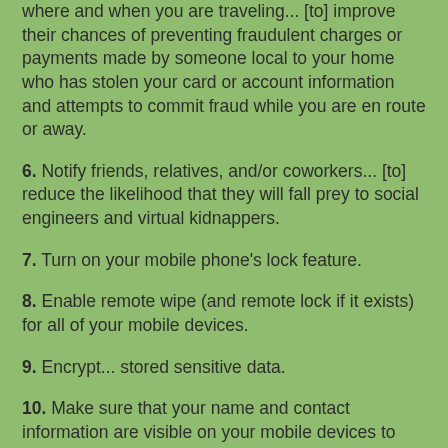where and when you are traveling... [to] improve their chances of preventing fraudulent charges or payments made by someone local to your home who has stolen your card or account information and attempts to commit fraud while you are en route or away.
6. Notify friends, relatives, and/or coworkers... [to] reduce the likelihood that they will fall prey to social engineers and virtual kidnappers.
7. Turn on your mobile phone's lock feature.
8. Enable remote wipe (and remote lock if it exists) for all of your mobile devices.
9. Encrypt... stored sensitive data.
10. Make sure that your name and contact information are visible on your mobile devices to help anyone who finds your devices return them to you.